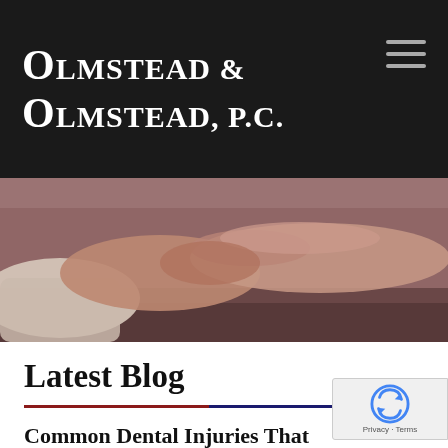Olmstead & Olmstead, P.C.
[Figure (photo): Close-up photo of two hands shaking or touching, one wearing a white sleeve, on a dark surface — warm tones. Law firm handshake imagery.]
Latest Blog
Common Dental Injuries That Result from...